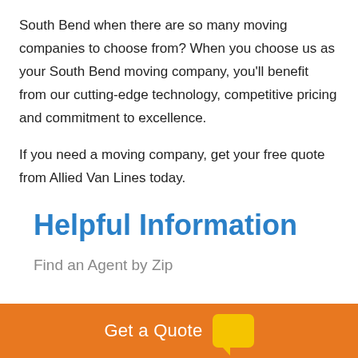South Bend when there are so many moving companies to choose from? When you choose us as your South Bend moving company, you'll benefit from our cutting-edge technology, competitive pricing and commitment to excellence.
If you need a moving company, get your free quote from Allied Van Lines today.
Helpful Information
Find an Agent by Zip
Get a Quote